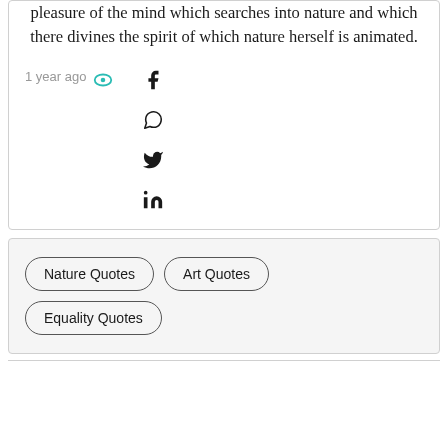Art is contemplation. It is the pleasure of the mind which searches into nature and which there divines the spirit of which nature herself is animated.
1 year ago
[Figure (infographic): Social share icons: Facebook, WhatsApp, Twitter, LinkedIn]
Nature Quotes   Art Quotes   Equality Quotes